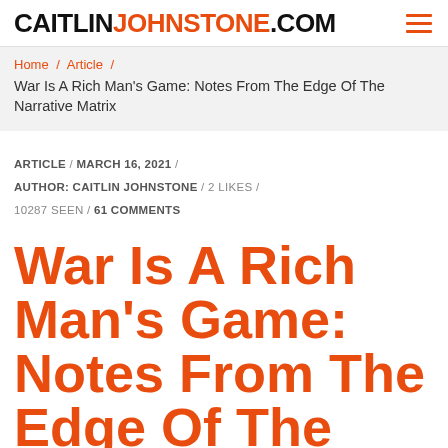CAITLINJOHNSTONE.COM
Home / Article / War Is A Rich Man's Game: Notes From The Edge Of The Narrative Matrix
ARTICLE / MARCH 16, 2021 / AUTHOR: CAITLIN JOHNSTONE / 2 LIKES / 10287 SEEN / 61 COMMENTS
War Is A Rich Man's Game: Notes From The Edge Of The Narrative Matrix